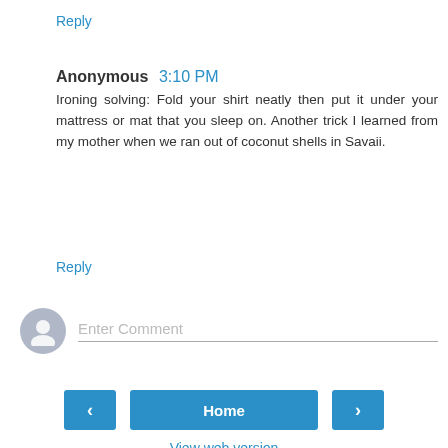Reply
Anonymous 3:10 PM
Ironing solving: Fold your shirt neatly then put it under your mattress or mat that you sleep on. Another trick I learned from my mother when we ran out of coconut shells in Savaii.
Reply
Enter Comment
Home
View web version
Powered by Blogger.